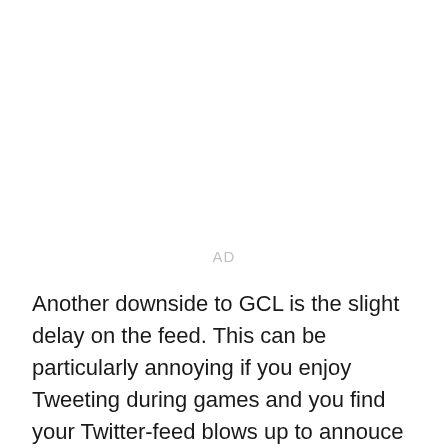AD
Another downside to GCL is the slight delay on the feed. This can be particularly annoying if you enjoy Tweeting during games and you find your Twitter-feed blows up to annouce a goal about a minute before you actually see it on GCL.